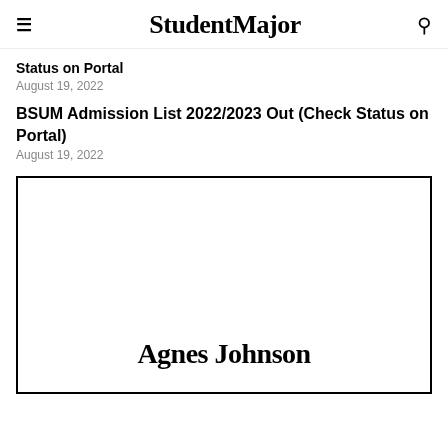StudentMajor
Status on Portal
August 19, 2022
BSUM Admission List 2022/2023 Out (Check Status on Portal)
August 19, 2022
[Figure (other): Author avatar placeholder box with name 'Agnes Johnson' in bold serif font centered near bottom]